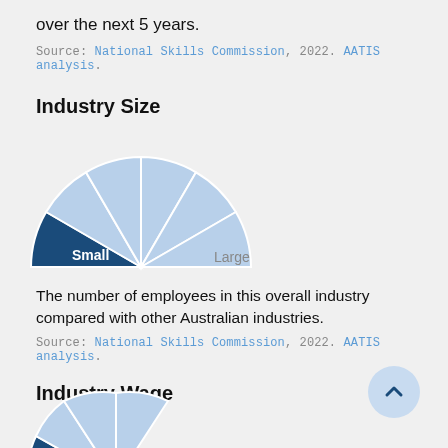over the next 5 years.
Source: National Skills Commission, 2022. AATIS analysis.
Industry Size
[Figure (other): A semi-circular gauge/fan chart showing industry size with 'Small' highlighted in dark blue on the left and 'Large' label on the right. The semicircle is divided into segments, with the leftmost segment dark blue and the others light blue.]
The number of employees in this overall industry compared with other Australian industries.
Source: National Skills Commission, 2022. AATIS analysis.
Industry Wage
[Figure (other): Partial semi-circular gauge/fan chart for Industry Wage, cropped at bottom of page.]